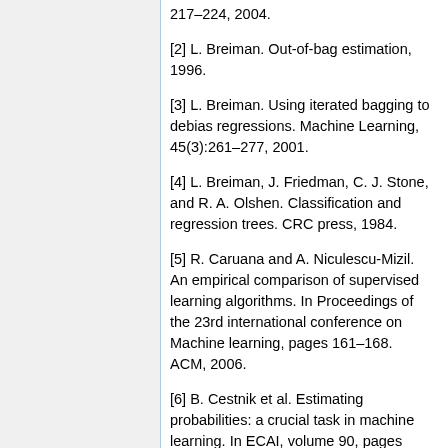217–224, 2004.
[2] L. Breiman. Out-of-bag estimation, 1996.
[3] L. Breiman. Using iterated bagging to debias regressions. Machine Learning, 45(3):261–277, 2001.
[4] L. Breiman, J. Friedman, C. J. Stone, and R. A. Olshen. Classification and regression trees. CRC press, 1984.
[5] R. Caruana and A. Niculescu-Mizil. An empirical comparison of supervised learning algorithms. In Proceedings of the 23rd international conference on Machine learning, pages 161–168. ACM, 2006.
[6] B. Cestnik et al. Estimating probabilities: a crucial task in machine learning. In ECAI, volume 90, pages 147–149, 1990.